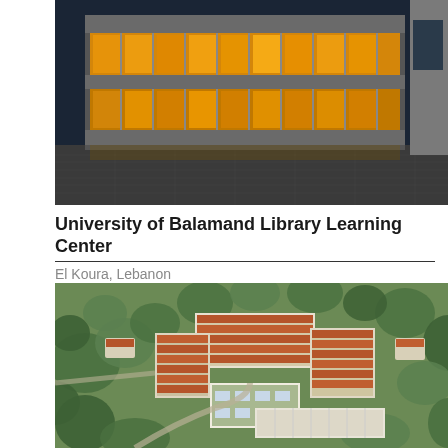[Figure (photo): Evening/night exterior photo of a modern university library building with large glass facade illuminated in warm golden-yellow light, showing multiple floors with curtain wall glazing and concrete structure, viewed from a paved courtyard.]
University of Balamand Library Learning Center
El Koura, Lebanon
[Figure (photo): Aerial architectural rendering/photo of the University of Balamand campus showing a cluster of buildings with terracotta/red roofs surrounded by dense green trees, with a modern building addition visible in the center-lower area, providing a bird's eye view of the entire campus layout.]